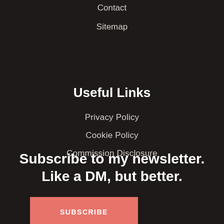Contact
Sitemap
Useful Links
Privacy Policy
Cookie Policy
Commission Disclosure
Subscribe to my newsletter. Like a DM, but better.
SUBSCRIBE